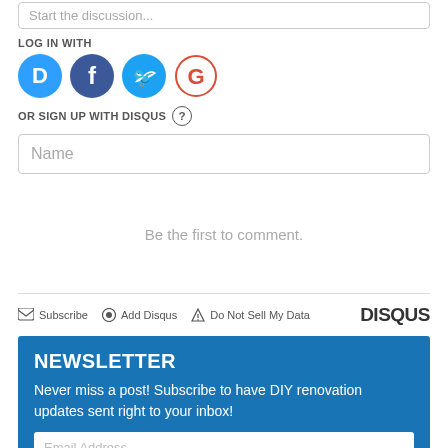Start the discussion...
LOG IN WITH
[Figure (other): Social login icons: Disqus (blue circle with D), Facebook (dark blue circle with f), Twitter (light blue circle with bird), Google (white/red circle with G)]
OR SIGN UP WITH DISQUS (?)
Name
Be the first to comment.
Subscribe   Add Disqus   Do Not Sell My Data   DISQUS
NEWSLETTER
Never miss a post! Subscribe to have DIY renovation updates sent right to your inbox!